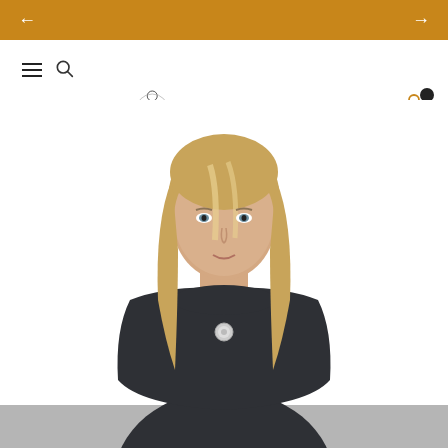[Figure (screenshot): DIRDIRECT e-commerce website screenshot showing navigation bar with hamburger menu, search icon, DIRDIRECT logo with Vitruvian man icon, user account icon, and shopping cart icon with notification badge. Below the nav is a product photo of a woman wearing a dark navy/charcoal sleeveless top with a small logo badge, with long blonde hair and a neutral expression, against a white background. A grey bar appears at the bottom of the page.]